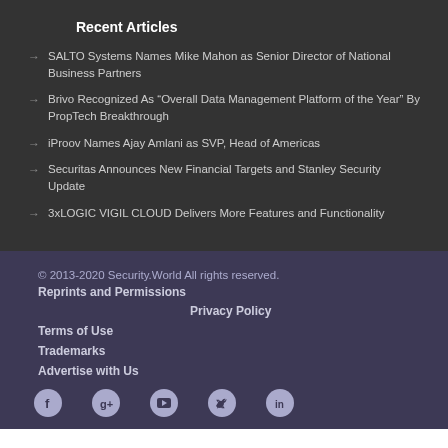Recent Articles
SALTO Systems Names Mike Mahon as Senior Director of National Business Partners
Brivo Recognized As “Overall Data Management Platform of the Year” By PropTech Breakthrough
iProov Names Ajay Amlani as SVP, Head of Americas
Securitas Announces New Financial Targets and Stanley Security Update
3xLOGIC VIGIL CLOUD Delivers More Features and Functionality
© 2013-2020 Security.World All rights reserved.
Reprints and Permissions
Privacy Policy
Terms of Use
Trademarks
Advertise with Us